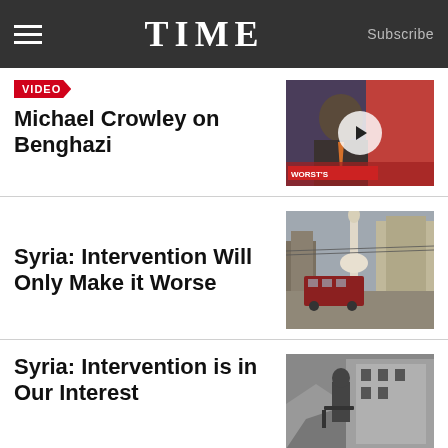TIME | Subscribe
VIDEO
Michael Crowley on Benghazi
[Figure (photo): Video thumbnail showing a man in a suit and tie on a TV broadcast set]
Syria: Intervention Will Only Make it Worse
[Figure (photo): War-damaged street in Syria with a bus, ruined buildings, and a mosque minaret]
Syria: Intervention is in Our Interest
[Figure (photo): Black and white photo of a soldier with a gun amid rubble]